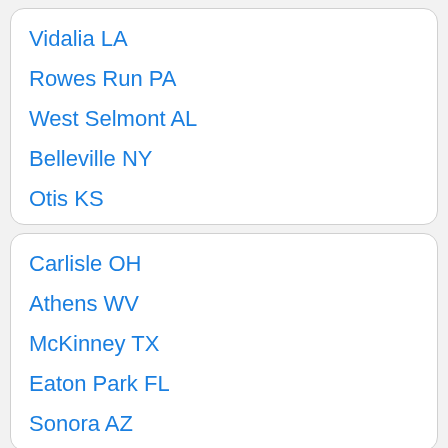Vidalia LA
Rowes Run PA
West Selmont AL
Belleville NY
Otis KS
Carlisle OH
Athens WV
McKinney TX
Eaton Park FL
Sonora AZ
Bridgetown OH
Ingalls AR
Clayton ID
Fruitland NM